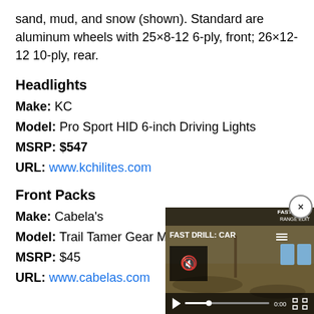sand, mud, and snow (shown). Standard are aluminum wheels with 25×8-12 6-ply, front; 26×12-12 10-ply, rear.
Headlights
Make: KC
Model: Pro Sport HID 6-inch Driving Lights
MSRP: $547
URL: www.kchilites.com
Front Packs
Make: Cabela's
Model: Trail Tamer Gear M[...]
MSRP: $45
URL: www.cabelas.com
[Figure (screenshot): Video overlay showing 'FAST DRILL: CAR...' with play controls, mute button, and close (x) button in top-right corner]